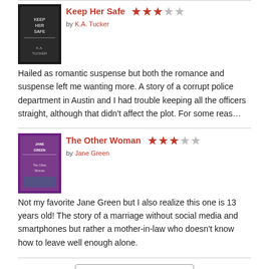[Figure (other): Book cover for Keep Her Safe by K.A. Tucker - dark themed cover with author name]
Keep Her Safe
by K.A. Tucker
Hailed as romantic suspense but both the romance and suspense left me wanting more. A story of a corrupt police department in Austin and I had trouble keeping all the officers straight, although that didn't affect the plot. For some reas...
[Figure (other): Book cover for The Other Woman by Jane Green - colorful cover]
The Other Woman
by Jane Green
Not my favorite Jane Green but I also realize this one is 13 years old! The story of a marriage without social media and smartphones but rather a mother-in-law who doesn't know how to leave well enough alone.
[Figure (logo): Goodreads logo]